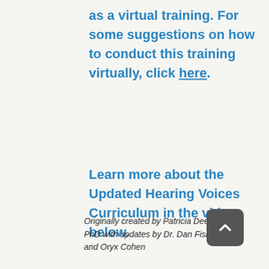as a virtual training. For some suggestions on how to conduct this training virtually, click here.
Learn more about the Updated Hearing Voices Curriculum in the video below.
Originally created by Patricia Deegan, PhD with updates by Dr. Dan Fisher and Oryx Cohen